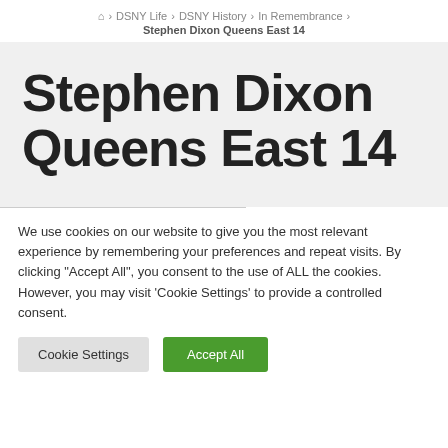🏠 > DSNY Life > DSNY History > In Remembrance > Stephen Dixon Queens East 14
Stephen Dixon Queens East 14
We use cookies on our website to give you the most relevant experience by remembering your preferences and repeat visits. By clicking "Accept All", you consent to the use of ALL the cookies. However, you may visit 'Cookie Settings' to provide a controlled consent.